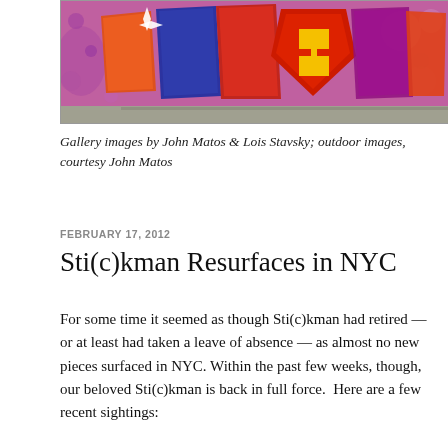[Figure (photo): Colorful graffiti mural with stylized letters and Superman logo on a wall, in orange, red, blue, purple tones]
Gallery images by John Matos & Lois Stavsky; outdoor images, courtesy John Matos
FEBRUARY 17, 2012
Sti(c)kman Resurfaces in NYC
For some time it seemed as though Sti(c)kman had retired — or at least had taken a leave of absence — as almost no new pieces surfaced in NYC. Within the past few weeks, though, our beloved Sti(c)kman is back in full force.  Here are a few recent sightings: